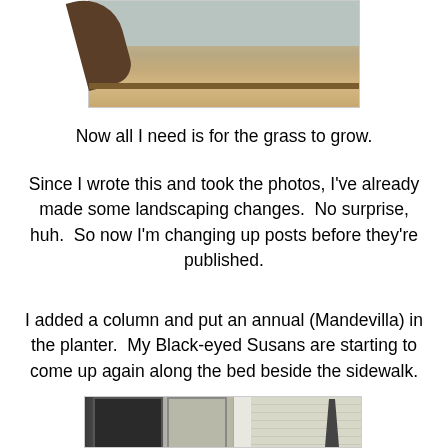[Figure (photo): Outdoor garden bed with mulch, a leaning tree trunk on left, shrubs and decorative planter against a light-colored wall/fence in background]
Now all I need is for the grass to grow.
Since I wrote this and took the photos, I've already made some landscaping changes.  No surprise, huh.  So now I'm changing up posts before they're published.
I added a column and put an annual (Mandevilla) in the planter.  My Black-eyed Susans are starting to come up again along the bed beside the sidewalk.
[Figure (photo): Front porch area showing decorative lattice door panels, a white column, house siding, and a tall dark obelisk garden stake]